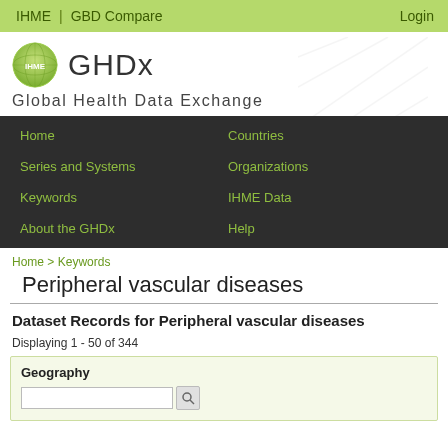IHME | GBD Compare   Login
[Figure (logo): IHME globe logo with GHDx text]
Global Health Data Exchange
Home | Countries | Series and Systems | Organizations | Keywords | IHME Data | About the GHDx | Help
Home > Keywords
Peripheral vascular diseases
Dataset Records for Peripheral vascular diseases
Displaying 1 - 50 of 344
Geography